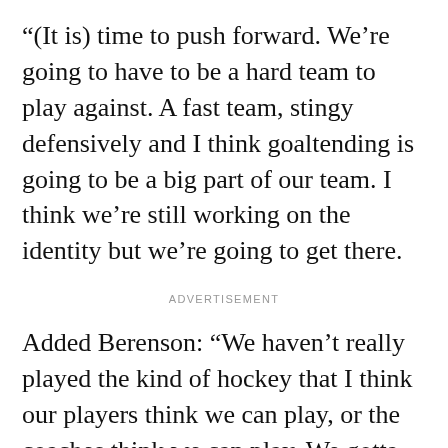“(It is) time to push forward. We’re going to have to be a hard team to play against. A fast team, stingy defensively and I think goaltending is going to be a big part of our team. I think we’re still working on the identity but we’re going to get there.
ADVERTISEMENT
Added Berenson: “We haven’t really played the kind of hockey that I think our players think we can play, or the coaches think we can play. We gotta build whatever identity that is. Our next game is our best chance to take a step in that direction. You’re not gonna do it all in